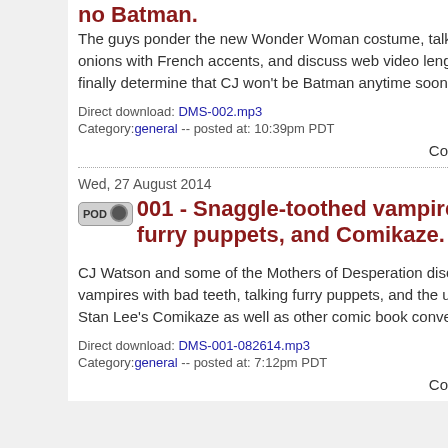no Batman.
The guys ponder the new Wonder Woman costume, talk about onions with French accents, and discuss web video lengths and finally determine that CJ won't be Batman anytime soon.
Direct download: DMS-002.mp3
Category: general -- posted at: 10:39pm PDT
Comments[0]
Wed, 27 August 2014
001 - Snaggle-toothed vampires, furry puppets, and Comikaze.
CJ Watson and some of the Mothers of Desperation discuss vampires with bad teeth, talking furry puppets, and the upcoming Stan Lee's Comikaze as well as other comic book conventions.
Direct download: DMS-001-082614.mp3
Category: general -- posted at: 7:12pm PDT
Comments[0]